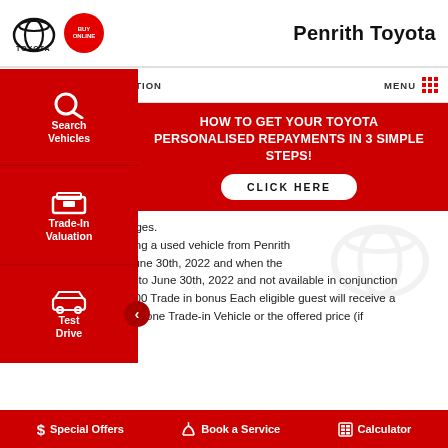Penrith Toyota
[Figure (logo): Toyota logo and Buy Online badge]
CALL US   LOCATION   MENU
HOW TO GET YOUR TOYOTA PERSONALISED REPAYMENTS IN 3 SIMPLE STEPS!
CLICK HERE
[Figure (infographic): Search Vehicles sidebar icon]
[Figure (infographic): Trade-In Valuation sidebar icon]
[Figure (infographic): Test Drive sidebar icon]
nclude government charges. available when purchasing a used vehicle from Penrith between June 1st and June 30th, 2022 and when the vehicle is delivered prior to June 30th, 2022 and not available in conjunction with any other offers. $500 Trade in bonus Each eligible guest will receive a minimum offer of $500 for one Trade-in Vehicle or the offered price (if
$ Special Offers   Book a Service   Calculator